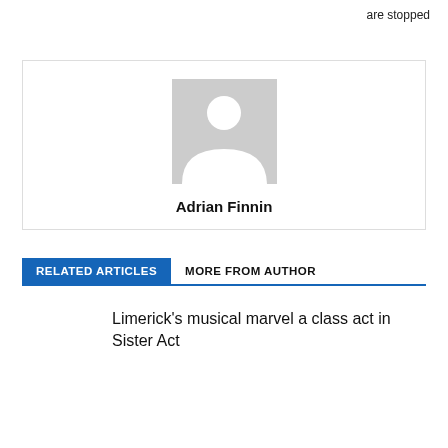are stopped
[Figure (photo): Default author avatar placeholder — gray silhouette of a person on a light gray background]
Adrian Finnin
RELATED ARTICLES | MORE FROM AUTHOR
Limerick's musical marvel a class act in Sister Act